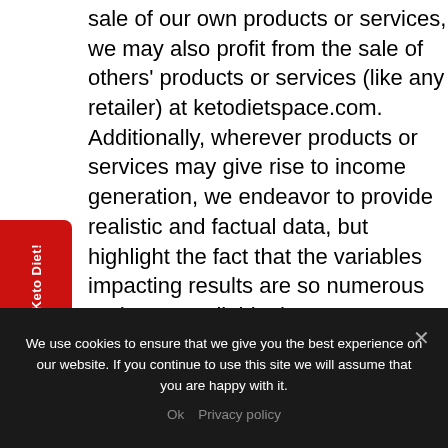sale of our own products or services, we may also profit from the sale of others' products or services (like any retailer) at ketodietspace.com. Additionally, wherever products or services may give rise to income generation, we endeavor to provide realistic and factual data, but highlight the fact that the variables impacting results are so numerous and uncontrollable that no guarantees are in any way made. It is our goal to embrace the guidelines and requirements of the Federal Trade Commission (FTC) for the benefit of all, and with that in mind provide the following disclosures regarding compensation and disclaimer regarding earnings & income.
[Figure (other): Red vertical sidebar tab with white rotated text reading 'Get YOUR Custom Keto Diet!']
We use cookies to ensure that we give you the best experience on our website. If you continue to use this site we will assume that you are happy with it.
Ok   Privacy policy